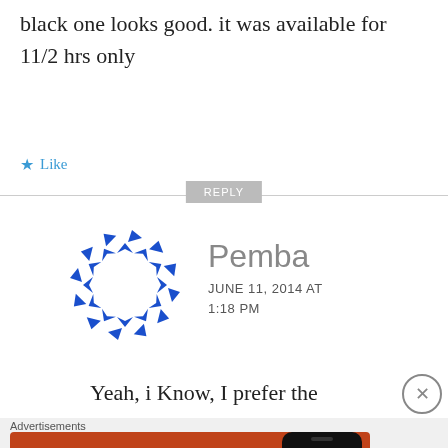black one looks good. it was available for 11/2 hrs only
★ Like
REPLY
[Figure (illustration): Circular blue arrow icon used as commenter avatar for Pemba]
Pemba
JUNE 11, 2014 AT 1:18 PM
Yeah, i Know, I prefer the
Advertisements
[Figure (screenshot): DuckDuckGo advertisement banner with orange background. Text reads: Search, browse, and email with more privacy. All in One Free App. Shows a phone with DuckDuckGo logo.]